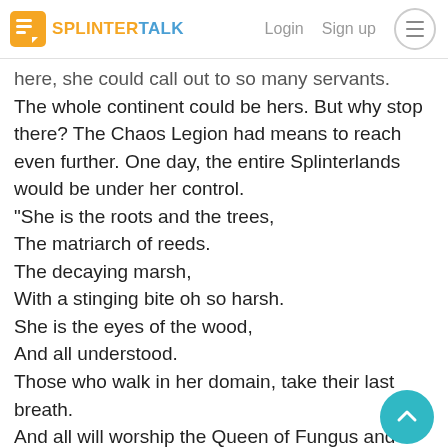SPLINTERTALK | Login | Sign up
here, she could call out to so many servants. The whole continent could be hers. But why stop there? The Chaos Legion had means to reach even further. One day, the entire Splinterlands would be under her control. “She is the roots and the trees,
The matriarch of reeds.
The decaying marsh,
With a stinging bite oh so harsh.
She is the eyes of the wood,
And all understood.
Those who walk in her domain, take their last breath.
And all will worship the Queen of Fungus and Death.”